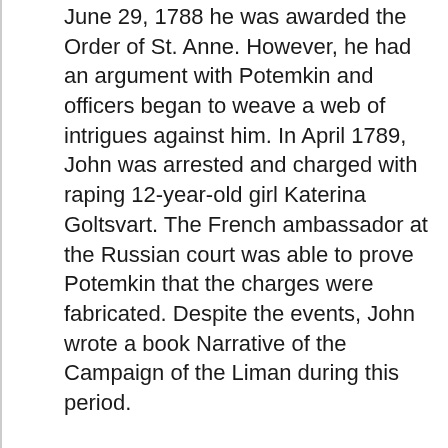June 29, 1788 he was awarded the Order of St. Anne. However, he had an argument with Potemkin and officers began to weave a web of intrigues against him. In April 1789, John was arrested and charged with raping 12-year-old girl Katerina Goltsvart. The French ambassador at the Russian court was able to prove Potemkin that the charges were fabricated. Despite the events, John wrote a book Narrative of the Campaign of the Liman during this period.
He left the Russian capital on August 18, 1789, angry and disappointed.
In May 1790, he again settled in Paris. In June 1792 Jones was appointed US consul in Algiers.
Paul Jones died on July 18, 1792 in Paris, France. More than 100 years later, U.S. warships carried Jones's body back to the United States. He was reburied in a tomb at the U.S. Naval Academy in Annapolis, Maryland. His grave was made a national shrine.
John Paul Jones – Scottish sailor